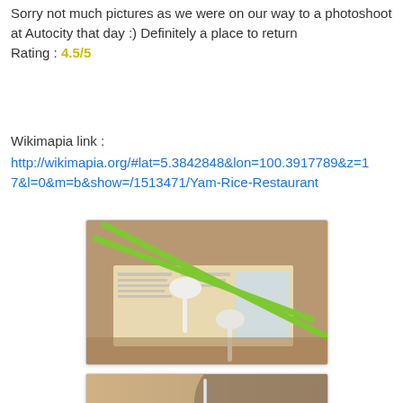Sorry not much pictures as we were on our way to a photoshoot at Autocity that day :) Definitely a place to return Rating : 4.5/5
Wikimapia link :
http://wikimapia.org/#lat=5.3842848&lon=100.3917789&z=17&l=0&m=b&show=/1513471/Yam-Rice-Restaurant
[Figure (photo): Close-up photo of white ceramic spoons and green chopsticks arranged on a newspaper/magazine page on a wooden surface]
[Figure (photo): Photo of a glass or transparent straw standing upright on a table with blurred warm-toned background]